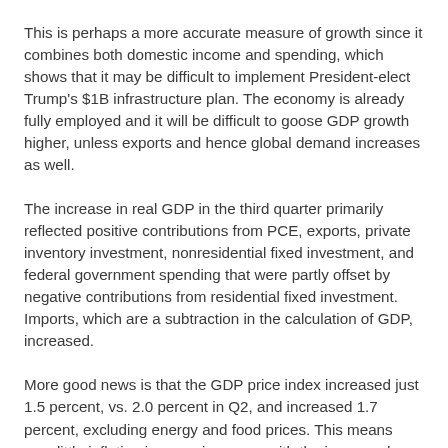This is perhaps a more accurate measure of growth since it combines both domestic income and spending, which shows that it may be difficult to implement President-elect Trump's $1B infrastructure plan. The economy is already fully employed and it will be difficult to goose GDP growth higher, unless exports and hence global demand increases as well.
The increase in real GDP in the third quarter primarily reflected positive contributions from PCE, exports, private inventory investment, nonresidential fixed investment, and federal government spending that were partly offset by negative contributions from residential fixed investment. Imports, which are a subtraction in the calculation of GDP, increased.
More good news is that the GDP price index increased just 1.5 percent, vs. 2.0 percent in Q2, and increased 1.7 percent, excluding energy and food prices. This means very little inflation is occurring, even with the increased economic activity. It's mainly the still cheap energy prices that hold inflation down, needless to say, due mostly to depressed